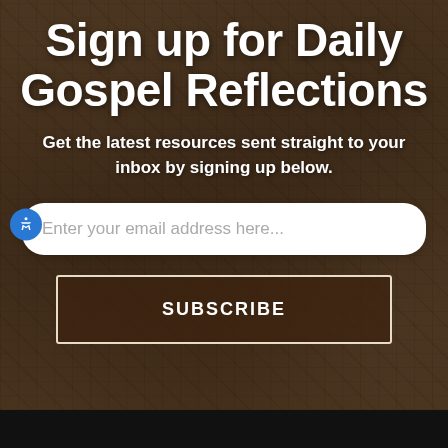Sign up for Daily Gospel Reflections
Get the latest resources sent straight to your inbox by signing up below.
[Figure (other): Email input field with white rounded rectangle background and placeholder text 'Enter your email address here...' with blue accessibility icon on the left]
[Figure (other): Subscribe button with dark brown background and white border, uppercase text 'SUBSCRIBE']